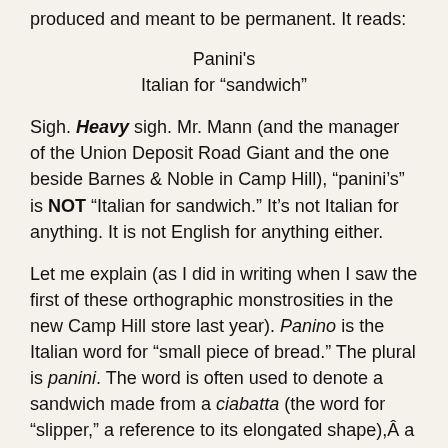produced and meant to be permanent. It reads:
Panini's
Italian for “sandwich”
Sigh. Heavy sigh. Mr. Mann (and the manager of the Union Deposit Road Giant and the one beside Barnes & Noble in Camp Hill), “panini’s” is NOT “Italian for sandwich.” It’s not Italian for anything. It is not English for anything either.
Let me explain (as I did in writing when I saw the first of these orthographic monstrosities in the new Camp Hill store last year). Panino is the Italian word for “small piece of bread.” The plural is panini. The word is often used to denote a sandwich made from a ciabatta (the word for “slipper,” a reference to its elongated shape),Â a small loaf of bread that is split, filled with meat or cheese, and then toasted. (The Italian word for “sandwich” in general is tramezzino.)